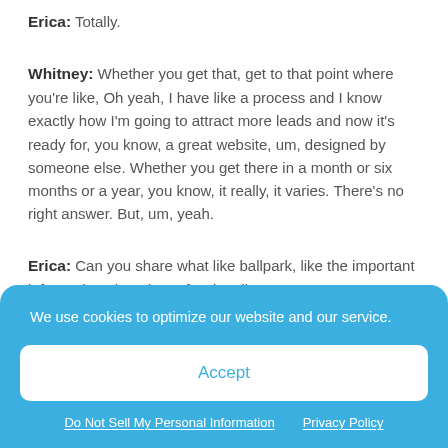Erica: Totally.
Whitney: Whether you get that, get to that point where you're like, Oh yeah, I have like a process and I know exactly how I'm going to attract more leads and now it's ready for, you know, a great website, um, designed by someone else. Whether you get there in a month or six months or a year, you know, it really, it varies. There's no right answer. But, um, yeah.
Erica: Can you share what like ballpark, like the important information about it, professionally?
We use cookies to optimize our website and our service.
Accept
Do Not Sell My Personal Information   Privacy Policy